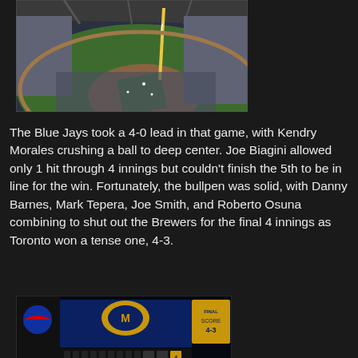[Figure (photo): Aerial view of a baseball stadium (likely Miller Park) with the roof partially open, showing the field, stands filled with spectators, and a foul pole in the foreground.]
The Blue Jays took a 4-0 lead in that game, with Kendry Morales crushing a ball to deep center. Joe Biagini allowed only 1 hit through 4 innings but couldn't finish the 5th to be in line for the win. Fortunately, the bullpen was solid, with Danny Barnes, Mark Tepera, Joe Smith, and Roberto Osuna combining to shut out the Brewers for the final 4 innings as Toronto won a tense one, 4-3.
[Figure (photo): Interior scoreboard display showing the Milwaukee Brewers logo/branding and a game scoreboard with inning-by-inning scores, partially visible.]